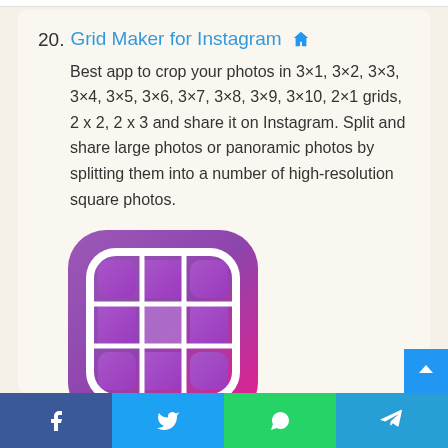20. Grid Maker for Instagram — Best app to crop your photos in 3×1, 3×2, 3×3, 3×4, 3×5, 3×6, 3×7, 3×8, 3×9, 3×10, 2×1 grids, 2 x 2, 2 x 3 and share it on Instagram. Split and share large photos or panoramic photos by splitting them into a number of high-resolution square photos.
[Figure (illustration): Grid Maker for Instagram app icon — a rounded square with purple-to-pink gradient background containing a 3x3 white grid pattern with rounded corners on the inner rectangle]
Facebook | Twitter | WhatsApp | Telegram share buttons